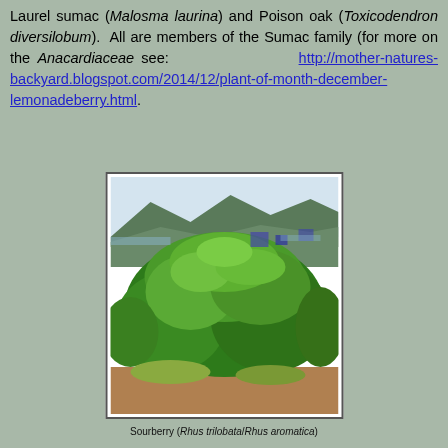Laurel sumac (Malosma laurina) and Poison oak (Toxicodendron diversilobum). All are members of the Sumac family (for more on the Anacardiaceae see: http://mother-natures-backyard.blogspot.com/2014/12/plant-of-month-december-lemonadeberry.html.
[Figure (photo): Photograph of a large green leafy shrub (sourberry / Rhus trilobata / Rhus aromatica) with mountains and a pale sky in the background.]
Sourberry (Rhus trilobata/Rhus aromatica)